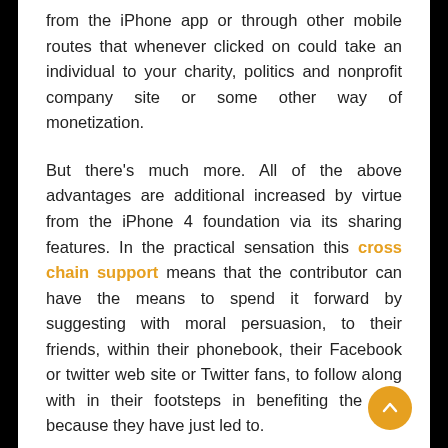from the iPhone app or through other mobile routes that whenever clicked on could take an individual to your charity, politics and nonprofit company site or some other way of monetization.
But there's much more. All of the above advantages are additional increased by virtue from the iPhone 4 foundation via its sharing features. In the practical sensation this cross chain support means that the contributor can have the means to spend it forward by suggesting with moral persuasion, to their friends, within their phonebook, their Facebook or twitter web site or Twitter fans, to follow along with in their footsteps in benefiting the root because they have just led to.